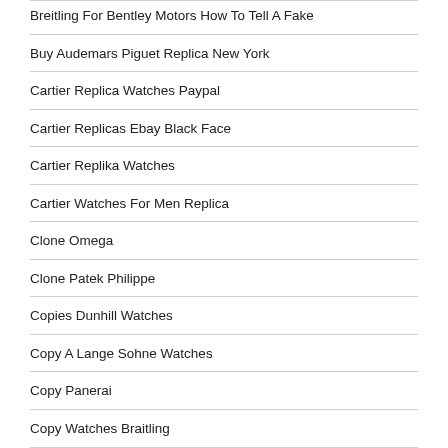Breitling For Bentley Motors How To Tell A Fake
Buy Audemars Piguet Replica New York
Cartier Replica Watches Paypal
Cartier Replicas Ebay Black Face
Cartier Replika Watches
Cartier Watches For Men Replica
Clone Omega
Clone Patek Philippe
Copies Dunhill Watches
Copy A Lange Sohne Watches
Copy Panerai
Copy Watches Braitling